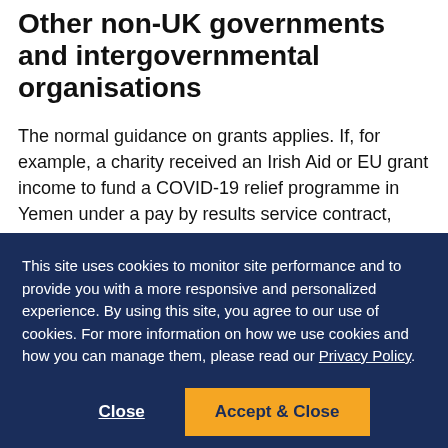Other non-UK governments and intergovernmental organisations
The normal guidance on grants applies. If, for example, a charity received an Irish Aid or EU grant income to fund a COVID-19 relief programme in Yemen under a pay by results service contract, which was agreed to give rise to a supply, then th
This site uses cookies to monitor site performance and to provide you with a more responsive and personalized experience. By using this site, you agree to our use of cookies. For more information on how we use cookies and how you can manage them, please read our Privacy Policy.
Close
Accept & Close